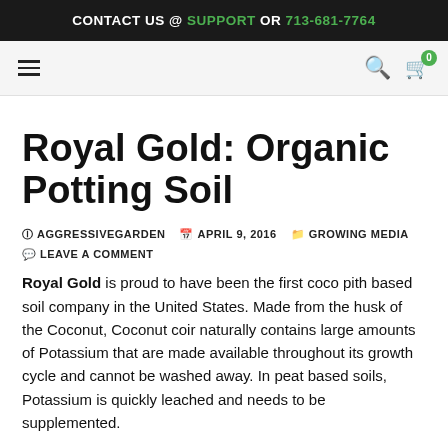CONTACT US @ SUPPORT OR 713-681-7764
Royal Gold: Organic Potting Soil
AGGRESSIVEGARDEN   APRIL 9, 2016   GROWING MEDIA   LEAVE A COMMENT
Royal Gold is proud to have been the first coco pith based soil company in the United States. Made from the husk of the Coconut, Coconut coir naturally contains large amounts of Potassium that are made available throughout its growth cycle and cannot be washed away. In peat based soils, Potassium is quickly leached and needs to be supplemented.